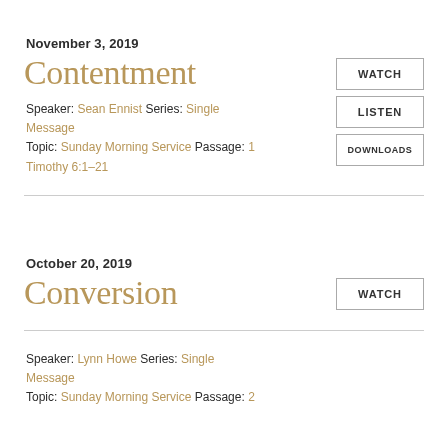November 3, 2019
Contentment
Speaker: Sean Ennist Series: Single Message
Topic: Sunday Morning Service Passage: 1 Timothy 6:1–21
WATCH
LISTEN
DOWNLOADS
October 20, 2019
Conversion
Speaker: Lynn Howe Series: Single Message
Topic: Sunday Morning Service Passage: 2
WATCH